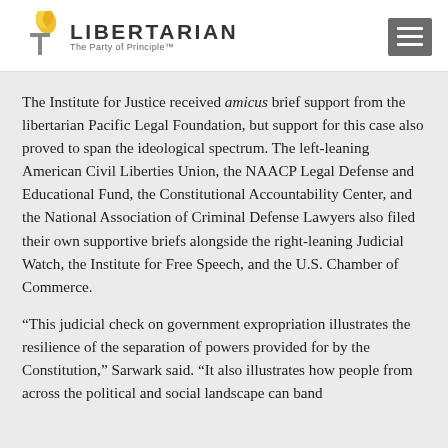[Figure (logo): Libertarian Party logo with torch/flame icon and text 'LIBERTARIAN The Party of Principle™']
The Institute for Justice received amicus brief support from the libertarian Pacific Legal Foundation, but support for this case also proved to span the ideological spectrum. The left-leaning American Civil Liberties Union, the NAACP Legal Defense and Educational Fund, the Constitutional Accountability Center, and the National Association of Criminal Defense Lawyers also filed their own supportive briefs alongside the right-leaning Judicial Watch, the Institute for Free Speech, and the U.S. Chamber of Commerce.
“This judicial check on government expropriation illustrates the resilience of the separation of powers provided for by the Constitution,” Sarwark said. “It also illustrates how people from across the political and social landscape can band